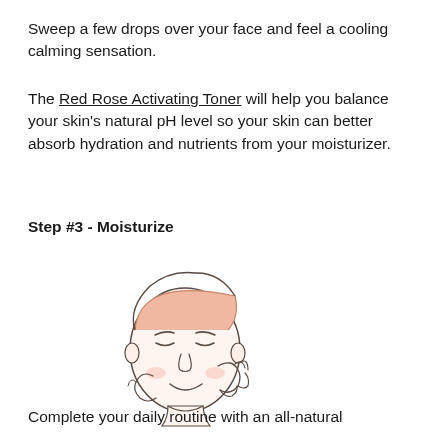Sweep a few drops over your face and feel a cooling calming sensation.
The Red Rose Activating Toner will help you balance your skin's natural pH level so your skin can better absorb hydration and nutrients from your moisturizer.
Step #3 - Moisturize
[Figure (illustration): Line drawing illustration of a woman with a pink headband applying product to her face with both hands, eyes closed, smiling.]
Complete your daily routine with an all-natural Moisturizer.